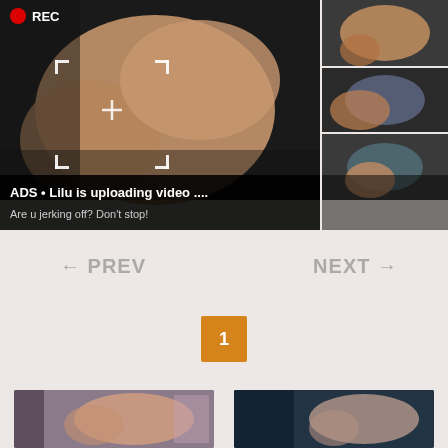[Figure (screenshot): Adult advertisement banner with REC indicator, crosshair overlay on left panel, and grid of thumbnail images on right. Bottom overlay shows 'ADS • Lilu is uploading video ....' and 'Are u jerking off? Don't stop!']
← PREV
NEXT →
1
[Figure (screenshot): Two video thumbnails at the bottom of the page showing adult webcam content]